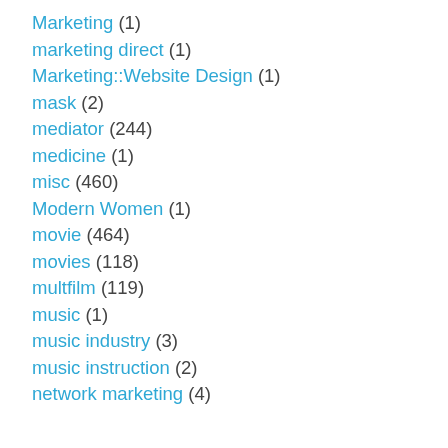Marketing (1)
marketing direct (1)
Marketing::Website Design (1)
mask (2)
mediator (244)
medicine (1)
misc (460)
Modern Women (1)
movie (464)
movies (118)
multfilm (119)
music (1)
music industry (3)
music instruction (2)
network marketing (4)